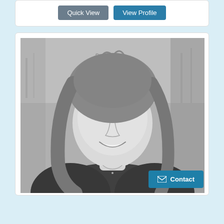[Figure (other): Two buttons: 'Quick View' (gray) and 'View Profile' (blue) inside a white card]
[Figure (photo): Black and white headshot photo of a smiling woman with long hair, wearing a necklace, outdoors with blurred natural background. A teal 'Contact' button with envelope icon overlays the bottom-right corner of the photo.]